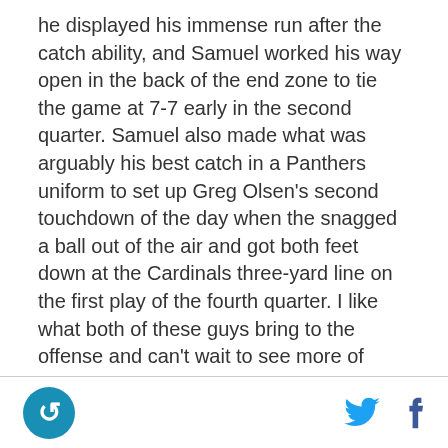he displayed his immense run after the catch ability, and Samuel worked his way open in the back of the end zone to tie the game at 7-7 early in the second quarter. Samuel also made what was arguably his best catch in a Panthers uniform to set up Greg Olsen's second touchdown of the day when the snagged a ball out of the air and got both feet down at the Cardinals three-yard line on the first play of the fourth quarter. I like what both of these guys bring to the offense and can't wait to see more of them.
Christian McCaffrey: Mr. Everything was everywhere for the Panthers offense yesterday. He rushed for 153 yards on 24 carries (including a 76-yard touchdown run
[logo] [twitter] [facebook]